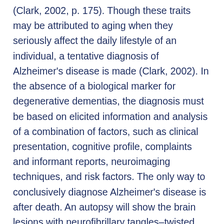(Clark, 2002, p. 175). Though these traits may be attributed to aging when they seriously affect the daily lifestyle of an individual, a tentative diagnosis of Alzheimer's disease is made (Clark, 2002). In the absence of a biological marker for degenerative dementias, the diagnosis must be based on elicited information and analysis of a combination of factors, such as clinical presentation, cognitive profile, complaints and informant reports, neuroimaging techniques, and risk factors. The only way to conclusively diagnose Alzheimer's disease is after death. An autopsy will show the brain lesions with neurofibrillary tangles–twisted nerve fibers inside nerve cells–and neurotic plaques – degenerating bits of nerve cells surrounding a core of fibrous material called amyloid (Hecht, 1985). In addition to the tangles and plaques, there also is a loss of nerve cells in regions of the brain essential for memory and thought processes, and in certain more primitive regions at the base of the brain. Though there are many drugs in the market for the